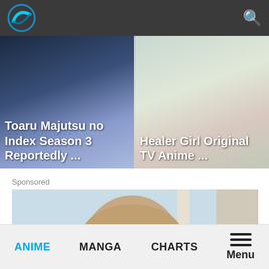Navigation bar with logo and search icon
[Figure (screenshot): Anime news article card: Toaru Majutsu no Index Season 3 Reportedly ...]
[Figure (screenshot): Anime news article card: Healer Girl Original TV Anime ...]
Sponsored
[Figure (photo): Sponsored advertisement photo showing a bald man looking through a window]
ANIME   MANGA   CHARTS   Menu